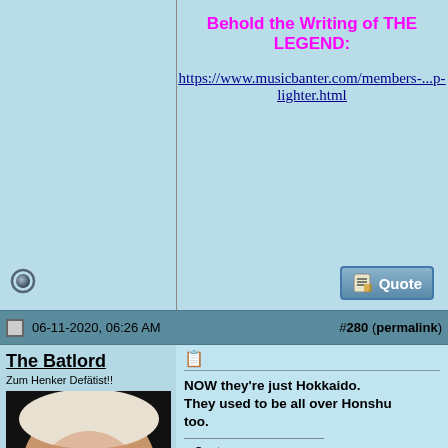Behold the Writing of THE LEGEND:
https://www.musicbanter.com/members-...p-lighter.html
06-11-2020, 06:26 AM   #280 (permalink)
The Batlord
Zum Henker Defätist!!
[Figure (photo): Avatar photo of a man in a suit laughing with red laser eyes effect]
NOW they're just Hokkaido. They used to be all over Honshu too.
Quote:
Originally Posted by J.R.R. Tolkien
There is only one bright spot and that is the growing habit of disgruntled men of dynamiting factories and power-stations; I hope that, encouraged now as 'patriotism', may remain a habit! But